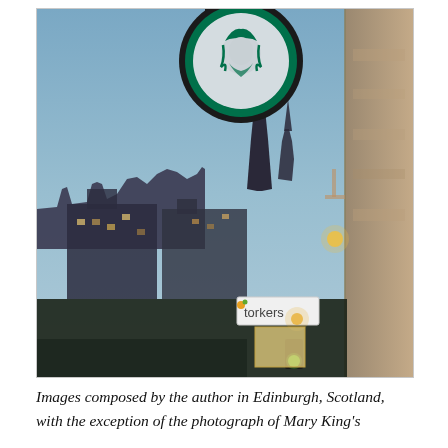[Figure (photo): A dusk photograph taken in Edinburgh, Scotland, showing a Starbucks circular sign with the mermaid logo prominently hanging in the upper portion. In the background, the city skyline is visible with a Gothic church spire and Edinburgh Castle silhouetted against a blue dusk sky. On the right side is a stone building wall. In the mid-lower portion a 'Bakers' shop sign is visible, and street lights glow warmly. A traffic light with a green light is visible in the lower right area.]
Images composed by the author in Edinburgh, Scotland, with the exception of the photograph of Mary King's